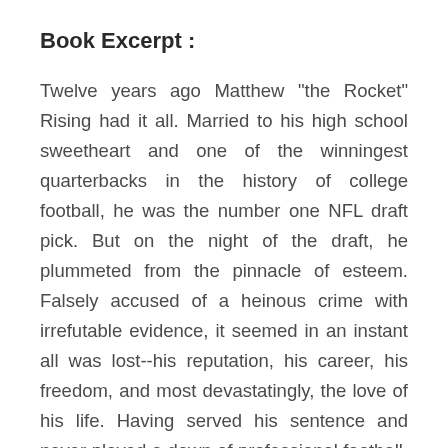Book Excerpt :
Twelve years ago Matthew "the Rocket" Rising had it all. Married to his high school sweetheart and one of the winningest quarterbacks in the history of college football, he was the number one NFL draft pick. But on the night of the draft, he plummeted from the pinnacle of esteem. Falsely accused of a heinous crime with irrefutable evidence, it seemed in an instant all was lost--his reputation, his career, his freedom, and most devastatingly, the love of his life. Having served his sentence and never played a down of professional football, Matthew leaves prison with one goal--to find his wife, Audrey, whom no one